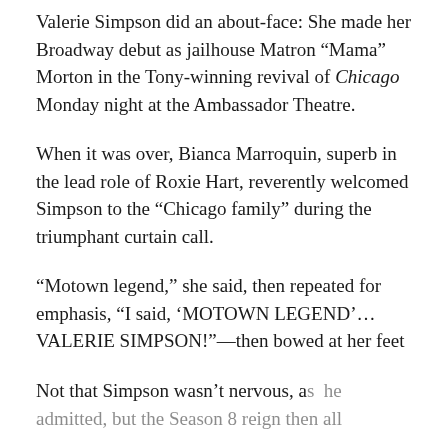Valerie Simpson did an about-face: She made her Broadway debut as jailhouse Matron “Mama” Morton in the Tony-winning revival of Chicago Monday night at the Ambassador Theatre.
When it was over, Bianca Marroquin, superb in the lead role of Roxie Hart, reverently welcomed Simpson to the “Chicago family” during the triumphant curtain call.
“Motown legend,” she said, then repeated for emphasis, “I said, ‘MOTOWN LEGEND’...VALERIE SIMPSON!”—then bowed at her feet
Not that Simpson wasn’t nervous, as he admitted, but the Season 8 reign then all...